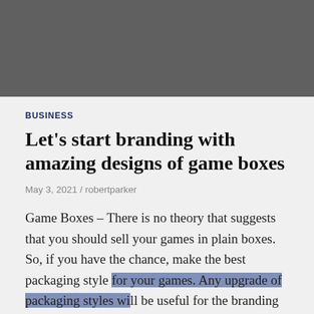[Figure (photo): Dark gray rectangular image placeholder at top of page]
BUSINESS
Let's start branding with amazing designs of game boxes
May 3, 2021 / robertparker
Game Boxes – There is no theory that suggests that you should sell your games in plain boxes. So, if you have the chance, make the best packaging style for your games. Any upgrade of packaging styles will be useful for the branding and marketing of your company. The eye-catchy prints on the game boxes get immediate attention, and if you have crafted it